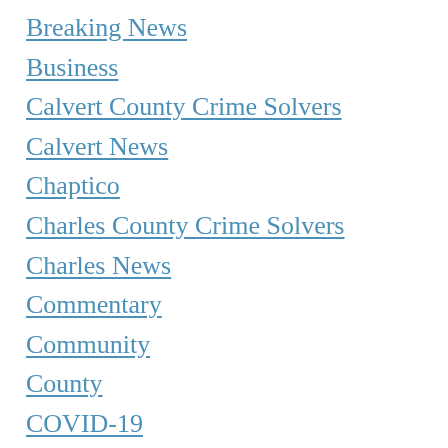Breaking News
Business
Calvert County Crime Solvers
Calvert News
Chaptico
Charles County Crime Solvers
Charles News
Commentary
Community
County
COVID-19
Crime Solvers
Department of Defense
Editorials
Education